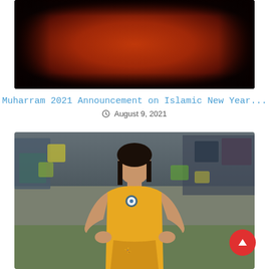[Figure (photo): Dark red/orange gradient background photo, possibly a backdrop or illuminated curtain]
Muharram 2021 Announcement on Islamic New Year...
August 9, 2021
[Figure (photo): Female Indian wrestler in yellow singlet with Indian flag emblem, standing on a wrestling mat with blurred crowd in background]